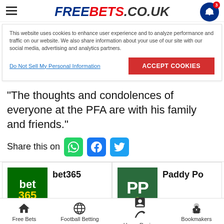FREEBETS.CO.UK
This website uses cookies to enhance user experience and to analyze performance and traffic on our website. We also share information about your use of our site with our social media, advertising and analytics partners.
Do Not Sell My Personal Information | Accept Cookies
“The thoughts and condolences of everyone at the PFA are with his family and friends.”
Share this on
[Figure (logo): bet365 logo - green background with bet365 text]
bet365
[Figure (logo): Paddy Power logo - dark green background with PP text]
Paddy Po
Free Bets | Football Betting | Horse Racing | Bookmakers